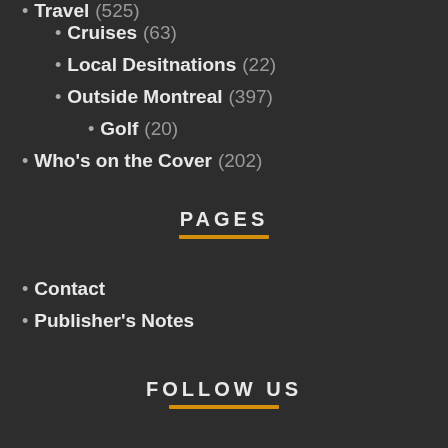Travel (523)
Cruises (63)
Local Desitnations (22)
Outside Montreal (397)
Golf (20)
Who's on the Cover (202)
PAGES
Contact
Publisher's Notes
FOLLOW US